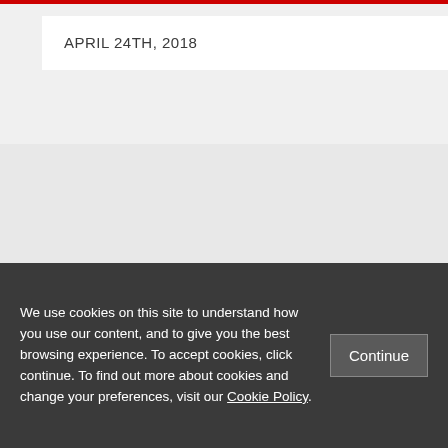APRIL 24TH, 2018
[Figure (logo): Twitter bird icon, YouTube play button icon, RSS feed icon — social media icons row]
[Figure (logo): LSE logo — red box with white LSE letters beside 'THE LONDON SCHOOL' text]
We use cookies on this site to understand how you use our content, and to give you the best browsing experience. To accept cookies, click continue. To find out more about cookies and change your preferences, visit our Cookie Policy.